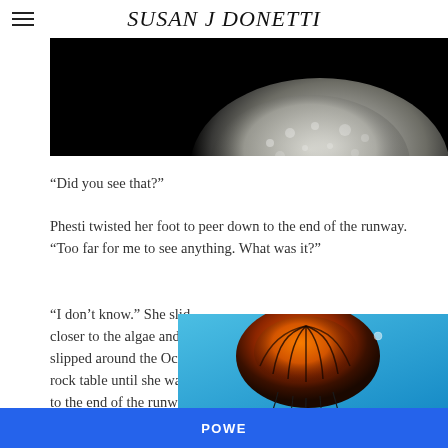SUSAN J DONETTI
[Figure (photo): Partial view of a translucent jellyfish or sea creature against a black background, showing its bell top portion with textured surface]
“Did you see that?”
Phesti twisted her foot to peer down to the end of the runway. “Too far for me to see anything. What was it?”
“I don’t know.” She slid closer to the algae and then slipped around the Octopi rock table until she was closer to the end of the runway. A black Sea Nettle was reaching
[Figure (photo): A jellyfish with an orange-red bell and dark tentacles photographed against a bright blue background]
POWE